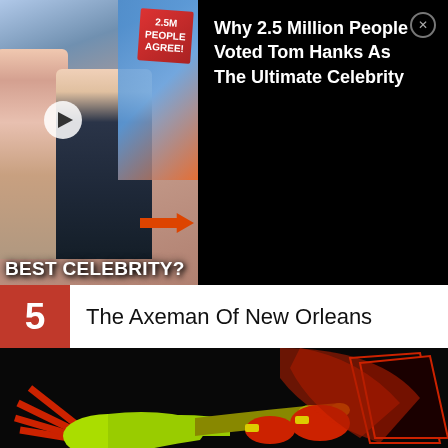[Figure (screenshot): Advertisement banner showing two people (woman and man) with text '2.5M PEOPLE AGREE!' and 'BEST CELEBRITY?' overlay. Right side on black background shows ad title.]
Why 2.5 Million People Voted Tom Hanks As The Ultimate Celebrity
5  The Axeman Of New Orleans
[Figure (illustration): Dark illustration on black background of a stylized figure in red playing a bright green/yellow trumpet, with red angular shapes suggesting a cape or coat and radiating lines from the trumpet bell.]